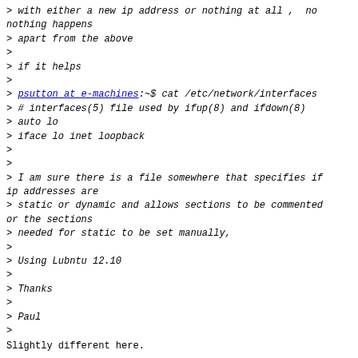> with either a new ip address or nothing at all ,  no nothing happens
> apart from the above
>
> if it helps
>
> psutton at e-machines:~$ cat /etc/network/interfaces
> # interfaces(5) file used by ifup(8) and ifdown(8)
> auto lo
> iface lo inet loopback
>
>
> I am sure there is a file somewhere that specifies if ip addresses are
> static or dynamic and allows sections to be commented or the sections
> needed for static to be set manually,
>
> Using Lubntu 12.10
>
> Thanks
>
> Paul
>
Slightly different here.
steve at Ouse:~$ sudo dhclient
[sudo] password for steve:
steve at Ouse:~$ cat /etc/network/interfaces
# This file describes the network interfaces available